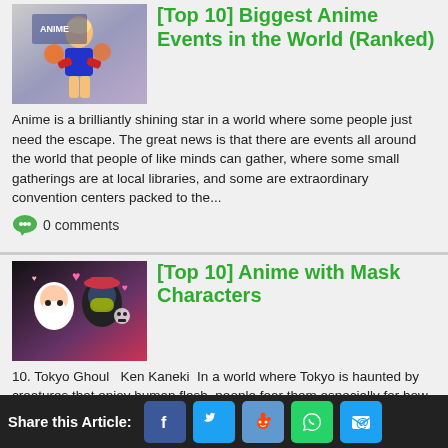[Figure (photo): Anime cosplayer dressed as a cheerleader with orange hair]
[Top 10] Biggest Anime Events in the World (Ranked)
Anime is a brilliantly shining star in a world where some people just need the escape. The great news is that there are events all around the world that people of like minds can gather, where some small gatherings are at local libraries, and some are extraordinary convention centers packed to the...
0 comments
[Figure (photo): Anime characters with masks in a colorful illustration]
[Top 10] Anime with Mask Characters
10. Tokyo Ghoul  Ken Kaneki  In a world where Tokyo is haunted by creatures that enjoy human flesh, people fear them especially for how they can blend into humanity. After what was supposed to be a date turning into something far darker, Kaneki finds himself becoming one of...
0 comments
Share this Article: